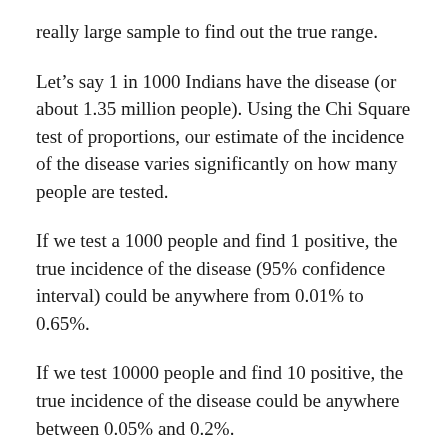really large sample to find out the true range.
Let’s say 1 in 1000 Indians have the disease (or about 1.35 million people). Using the Chi Square test of proportions, our estimate of the incidence of the disease varies significantly on how many people are tested.
If we test a 1000 people and find 1 positive, the true incidence of the disease (95% confidence interval) could be anywhere from 0.01% to 0.65%.
If we test 10000 people and find 10 positive, the true incidence of the disease could be anywhere between 0.05% and 0.2%.